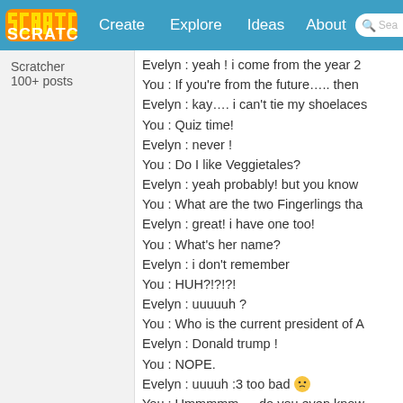Scratch navigation bar with Create, Explore, Ideas, About, Search
Scratcher
100+ posts
Evelyn : yeah ! i come from the year 2
You : If you're from the future….. then
Evelyn : kay…. i can't tie my shoelaces
You : Quiz time!
Evelyn : never !
You : Do I like Veggietales?
Evelyn : yeah probably! but you know
You : What are the two Fingerlings tha
Evelyn : great! i have one too!
You : What's her name?
Evelyn : i don't remember
You : HUH?!?!?!
Evelyn : uuuuuh ?
You : Who is the current president of A
Evelyn : Donald trump !
You : NOPE.
Evelyn : uuuuh :3 too bad 😐
You : Ummmmm…. do you even know
Evelyn : i'm definitly not
You : They're little toy monkeys that ho
Evelyn : i'm innecent!!!! i swear!
You : Huh?
Evelyn : uuuuuh?
You : Bye.
Evelyn : bye! i hope you enjoyed
You : Byeeeee
Evelyn : I don't know how to answer to
these instructions : First, select the me